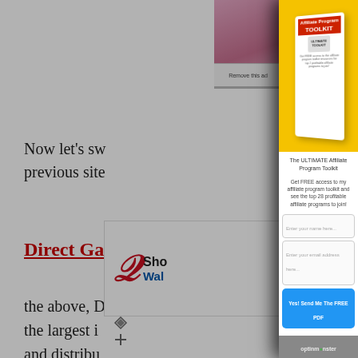[Figure (photo): Product image of 'The ULTIMATE Affiliate Program Toolkit' book/box on yellow background]
The ULTIMATE Affiliate Program Toolkit
Get FREE access to my affiliate program toolkit and see the top 28 profitable affiliate programs to join!
[Figure (screenshot): Input field: Enter your name here...]
[Figure (screenshot): Input field: Enter your email address here...]
[Figure (screenshot): Button: Yes! Send Me The FREE PDF]
Now let's sw previous site
Direct Garc
the above, D the largest i and distribu products Un seedlings an
[Figure (logo): Walgreens logo with 'Sho Wal' text]
optinmonster